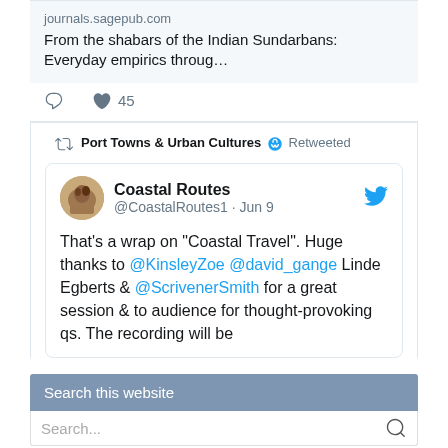[Figure (screenshot): Twitter/social media widget showing a tweet card with a link preview to journals.sagepub.com titled 'From the shabars of the Indian Sundarbans: Everyday empirics throug...' with like count of 45, followed by a retweet by Port Towns & Urban Cultures from @CoastalRoutes1 dated Jun 9 about 'Coastal Travel' panel wrap-up mentioning @KinsleyZoe @david_gange Linde Egberts & @ScrivenerSmith]
Search this website
Search...